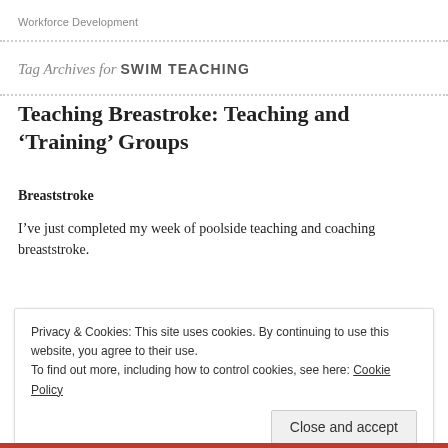Workforce Development
Tag Archives for SWIM TEACHING
Teaching Breastroke: Teaching and ‘Training’ Groups
Breaststroke
I’ve just completed my week of poolside teaching and coaching breaststroke.
Privacy & Cookies: This site uses cookies. By continuing to use this website, you agree to their use.
To find out more, including how to control cookies, see here: Cookie Policy
Close and accept